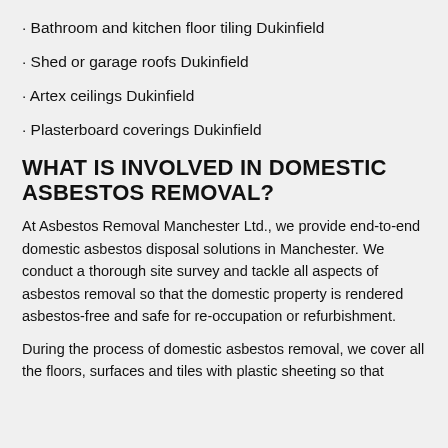· Bathroom and kitchen floor tiling Dukinfield
· Shed or garage roofs Dukinfield
· Artex ceilings Dukinfield
· Plasterboard coverings Dukinfield
WHAT IS INVOLVED IN DOMESTIC ASBESTOS REMOVAL?
At Asbestos Removal Manchester Ltd., we provide end-to-end domestic asbestos disposal solutions in Manchester. We conduct a thorough site survey and tackle all aspects of asbestos removal so that the domestic property is rendered asbestos-free and safe for re-occupation or refurbishment.
During the process of domestic asbestos removal, we cover all the floors, surfaces and tiles with plastic sheeting so that